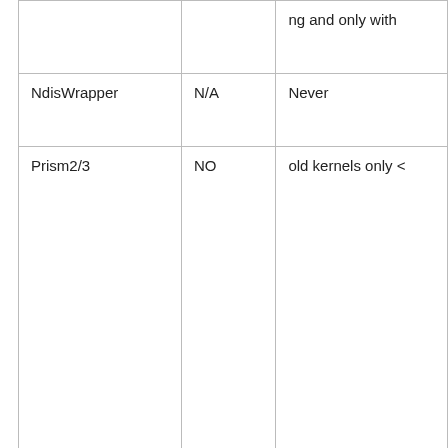|  |  | ng and only with |
| NdisWrapper | N/A | Never |
| Prism2/3 | NO | old kernels only < |